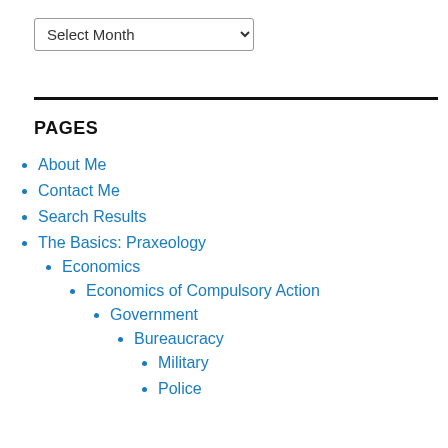Select Month
PAGES
About Me
Contact Me
Search Results
The Basics: Praxeology
Economics
Economics of Compulsory Action
Government
Bureaucracy
Military
Police